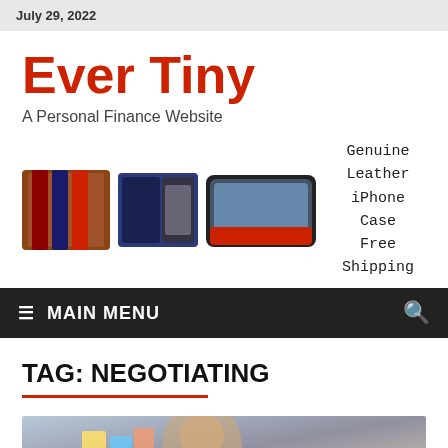July 29, 2022
Ever Tiny
A Personal Finance Website
[Figure (photo): Advertisement banner showing leather iPhone cases with text: Genuine Leather iPhone Case Free Shipping]
MAIN MENU
TAG: NEGOTIATING
[Figure (photo): Partial photo of a person at a desk with sticky notes in the background]